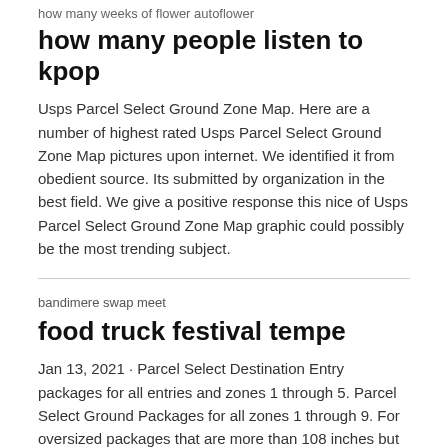how many weeks of flower autoflower
how many people listen to kpop
Usps Parcel Select Ground Zone Map. Here are a number of highest rated Usps Parcel Select Ground Zone Map pictures upon internet. We identified it from obedient source. Its submitted by organization in the best field. We give a positive response this nice of Usps Parcel Select Ground Zone Map graphic could possibly be the most trending subject.
bandimere swap meet
food truck festival tempe
Jan 13, 2021 · Parcel Select Destination Entry packages for all entries and zones 1 through 5. Parcel Select Ground Packages for all zones 1 through 9. For oversized packages that are more than 108 inches but not more than 130 inches (both length and girth combined), they may be charged Oversized charges. Weight is not a factor if it does not exceed 70 pounds..